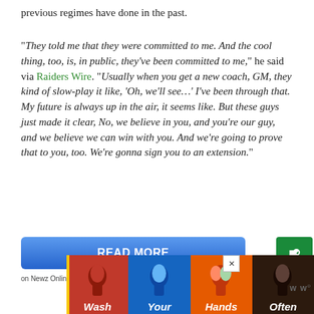previous regimes have done in the past.
“They told me that they were committed to me. And the cool thing, too, is, in public, they’ve been committed to me,” he said via Raiders Wire. “Usually when you get a new coach, GM, they kind of slow-play it like, ‘Oh, we’ll see…’ I’ve been through that. My future is always up in the air, it seems like. But these guys just made it clear, No, we believe in you, and you’re our guy, and we believe we can win with you. And we’re going to prove that to you, too. We’re gonna sign you to an extension.”
[Figure (screenshot): READ MORE button on Newz Online with green badge icon and share button]
[Figure (infographic): Wash Your Hands Often advertisement banner with illustrated hands and colorful sections]